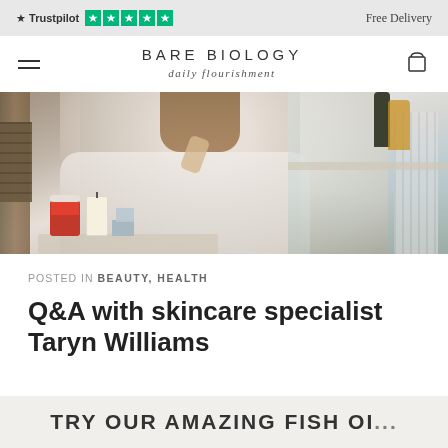Trustpilot ★★★★★  Free Delivery
BARE BIOLOGY
daily flourishment
[Figure (photo): Woman in white sitting on a sofa with Bare Biology product, candle, and wooden shelves in background]
POSTED IN BEAUTY, HEALTH
Q&A with skincare specialist Taryn Williams
TRY OUR AMAZING FISH OI...